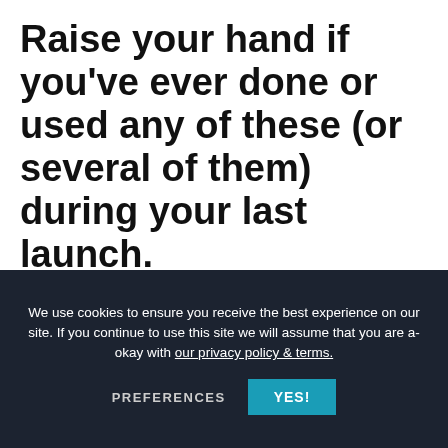Raise your hand if you've ever done or used any of these (or several of them) during your last launch.
I'm sure some of these worked for some of you and at the other end of the spectrum, none of these worked for some of you.
Bummer.
We use cookies to ensure you receive the best experience on our site. If you continue to use this site we will assume that you are a-okay with our privacy policy & terms.